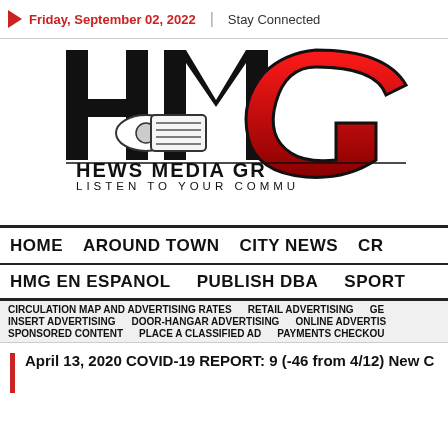Friday, September 02, 2022  |  Stay Connected
[Figure (logo): HMG (Hews Media Group) logo with large bold letters HMG, a rolled newspaper icon, and text HEWS MEDIA GROUP / LISTEN TO YOUR COMMUNITY]
HOME  AROUND TOWN  CITY NEWS  CR...  HMG EN ESPANOL  PUBLISH DBA  SPORT...
CIRCULATION MAP AND ADVERTISING RATES  RETAIL ADVERTISING  GE...  INSERT ADVERTISING  DOOR-HANGAR ADVERTISING  ONLINE ADVERTIS...  SPONSORED CONTENT  PLACE A CLASSIFIED AD  PAYMENTS CHECKOU...
April 13, 2020 COVID-19 REPORT: 9 (-46 from 4/12) New C... in L...s T...